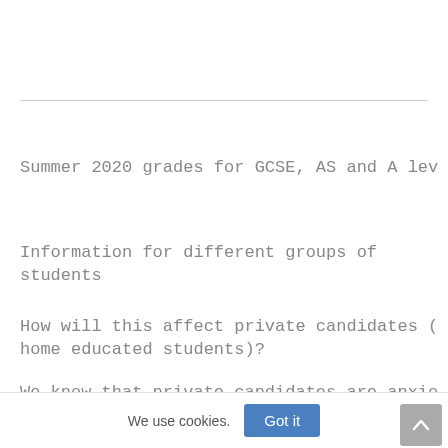Summer 2020 grades for GCSE, AS and A lev
Information for different groups of students
How will this affect private candidates (home educated students)?
We know that private candidates are anxio to them. We have consulted on arrangement We received broad support for our proposa results for private candidates for whom t